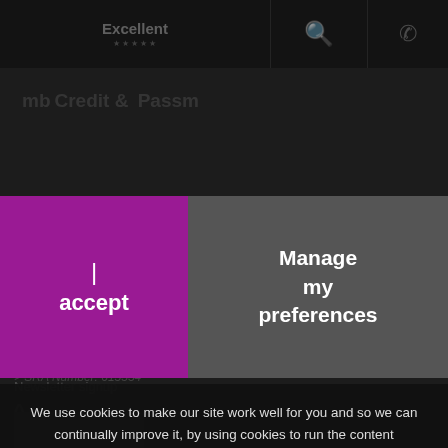[Figure (screenshot): Website top navigation bar showing 'Excellent' rating with stars, a search icon, and a phone icon on dark background]
mb... Credit & Passm...
> Complaints
> SRA Number: 615534
I accept
Manage my preferences
We use cookies to make our site work well for you and so we can continually improve it, by using cookies to run the content management system and to collect anonymous visitor data on how visitors use our platform (including Google Analytics). We are making users more aware of these cookies and providing links to help visitors decline or remove cookies. You can read more by clicking on this link to our cookie policy web page.
Newsletter signup
^